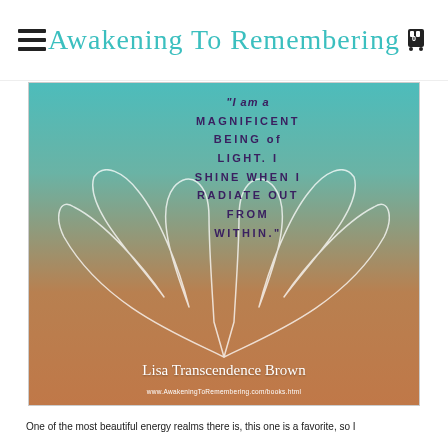Awakening To Remembering
[Figure (illustration): Inspirational quote image with angel wings on a teal-to-orange gradient background. Text reads: "I am a magnificent being of light. I shine when I radiate out from within." — Lisa Transcendence Brown. Website: www.AwakeningToRemembering.com/books.html]
One of the most beautiful energy realms there is, this one is a favorite, so I